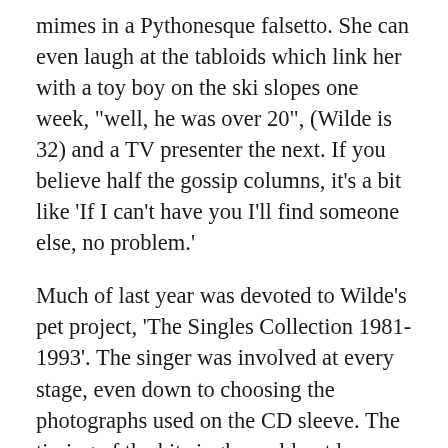mimes in a Pythonesque falsetto. She can even laugh at the tabloids which link her with a toy boy on the ski slopes one week, "well, he was over 20", (Wilde is 32) and a TV presenter the next. If you believe half the gossip columns, it's a bit like 'If I can't have you I'll find someone else, no problem.'
Much of last year was devoted to Wilde's pet project, 'The Singles Collection 1981-1993'. The singer was involved at every stage, even down to choosing the photographs used on the CD sleeve. The timing of the hit single could not have been better for the album push. "Success in this business comes down to a lot of luck, timing and hard work. Obviously, I'm chuffed with 'If I can't have you' and it sort of relieves